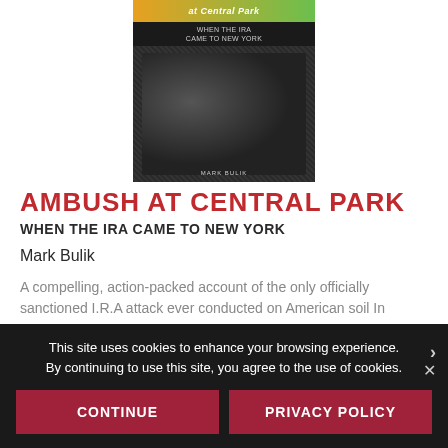[Figure (photo): Book cover of 'Ambush at Central Park: When the IRA Came to New York' by Mark Bulik. Features a green and orange band at top, subtitle text, black-and-white historical photograph of men, and author name at bottom.]
AMBUSH AT CENTRAL PARK
WHEN THE IRA CAME TO NEW YORK
Mark Bulik
A compelling, action-packed account of the only officially sanctioned I.R.A attack ever conducted on American soil In 1922,...
This site uses cookies to enhance your browsing experience. By continuing to use this site, you agree to the use of cookies.
CONTINUE
PRIVACY POLICY